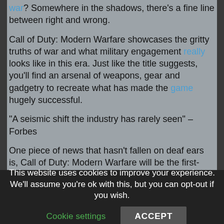war? Somewhere in the shadows, there's a fine line between right and wrong.
Call of Duty: Modern Warfare showcases the gritty truths of war and what military engagement really looks like in this era. Just like the title suggests, you'll find an arsenal of weapons, gear and gadgetry to recreate what has made the game hugely successful.
"A seismic shift the industry has rarely seen" – Forbes
One piece of news that hasn't fallen on deaf ears is, Call of Duty: Modern Warfare will be the first-ever game in the franchise's history to support cross-platform multiplayer. It will be released on Xbox One, Play Station 4 and Microsoft Windows. Players will have the chance to opt-in or out of the cross-platform play.  If they are eager to have a multiplayer experience, you will have to create a COD
This website uses cookies to improve your experience. We'll assume you're ok with this, but you can opt-out if you wish.
Cookie settings
ACCEPT